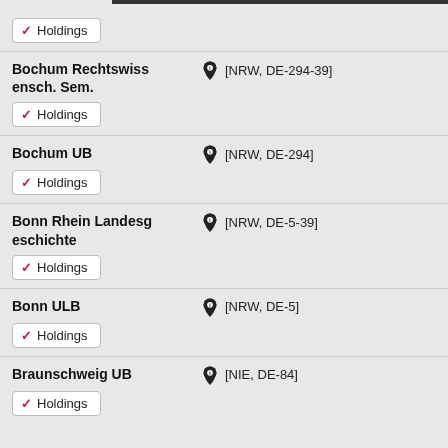Holdings (collapsed button)
Bochum Rechtswissensch. Sem. [NRW, DE-294-39] Holdings
Bochum UB [NRW, DE-294] Holdings
Bonn Rhein Landesgeschichte [NRW, DE-5-39] Holdings
Bonn ULB [NRW, DE-5] Holdings
Braunschweig UB [NIE, DE-84] Holdings